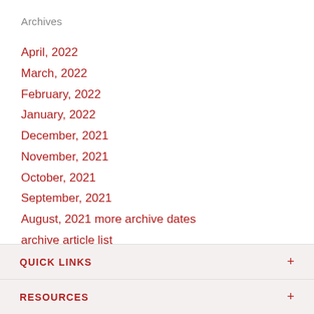Archives
April, 2022
March, 2022
February, 2022
January, 2022
December, 2021
November, 2021
October, 2021
September, 2021
August, 2021 more archive dates
archive article list
QUICK LINKS
RESOURCES